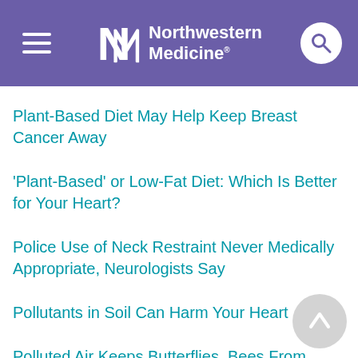Northwestern Medicine
Plant-Based Diet May Help Keep Breast Cancer Away
'Plant-Based' or Low-Fat Diet: Which Is Better for Your Heart?
Police Use of Neck Restraint Never Medically Appropriate, Neurologists Say
Pollutants in Soil Can Harm Your Heart
Polluted Air Keeps Butterflies, Bees From Pollinating: Study
Poor Americans Likely to Miss Preventive Heart Screenings: Study
Poor Brain Blood Flow Might Spur 'Tangles' of Alzheimer's